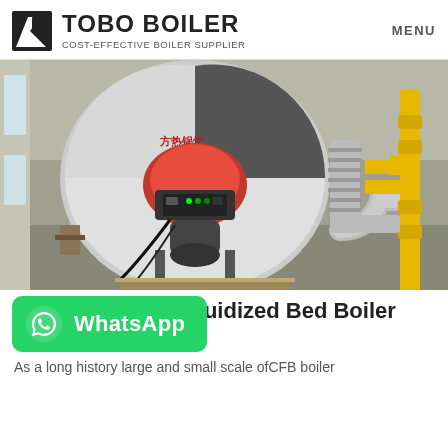TOBO BOILER — COST-EFFECTIVE BOILER SUPPLIER — MENU
[Figure (photo): Industrial gas-fired boiler with red burner unit, control panel, and connected yellow and silver pipes/ducts inside a large warehouse facility]
CFB Circulating Fluidized Bed Boiler Design
[Figure (other): WhatsApp contact button (green, with WhatsApp logo and text)]
As a long history large and small scale ofCFB boiler